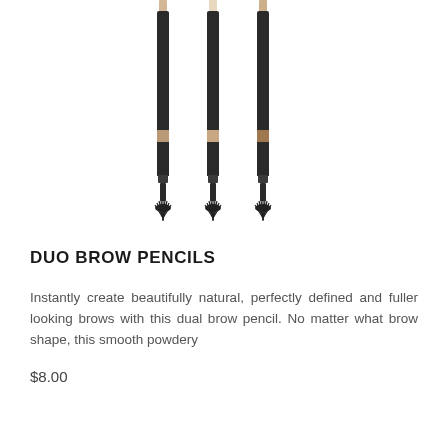[Figure (photo): Four duo brow pencils with dark barrels and spoolie brush ends, standing upright side by side, showing different shades at the tip.]
DUO BROW PENCILS
Instantly create beautifully natural, perfectly defined and fuller looking brows with this dual brow pencil. No matter what brow shape, this smooth powdery
$8.00